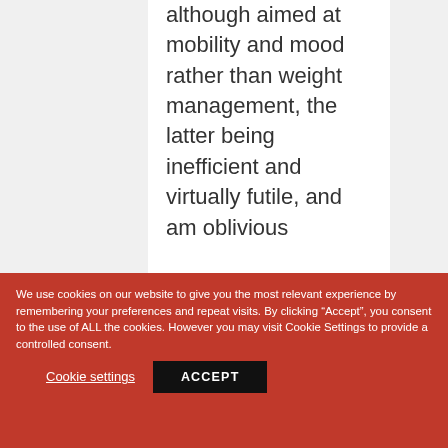although aimed at mobility and mood rather than weight management, the latter being inefficient and virtually futile, and am oblivious
We use cookies on our website to give you the most relevant experience by remembering your preferences and repeat visits. By clicking "Accept", you consent to the use of ALL the cookies. However you may visit Cookie Settings to provide a controlled consent.